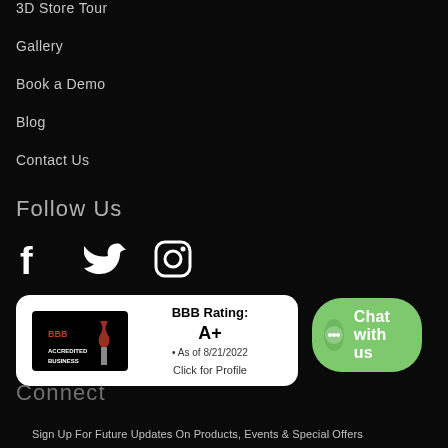3D Store Tour
Gallery
Book a Demo
Blog
Contact Us
Follow Us
[Figure (illustration): Social media icons: Facebook, Twitter, Instagram]
[Figure (illustration): BBB Accredited Business badge — BBB Rating: A+, As of 8/21/2022, Click for Profile]
Connect
[Figure (illustration): Chat with us button with speech bubble icon]
Sign Up For Future Updates On Products, Events & Special Offers